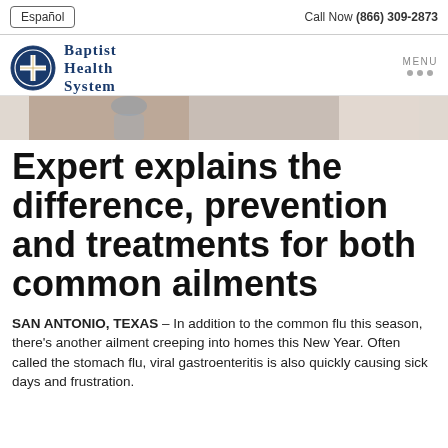Español | Call Now (866) 309-2873
[Figure (logo): Baptist Health System logo with blue circular cross emblem and serif text]
[Figure (photo): Partial photo of a person, cropped hero banner image]
Expert explains the difference, prevention and treatments for both common ailments
SAN ANTONIO, TEXAS – In addition to the common flu this season, there's another ailment creeping into homes this New Year. Often called the stomach flu, viral gastroenteritis is also quickly causing sick days and frustration.